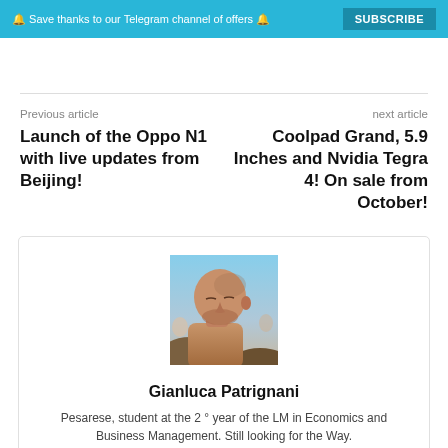🔔 Save thanks to our Telegram channel of offers 🔔  SUBSCRIBE
Previous article
next article
Launch of the Oppo N1 with live updates from Beijing!
Coolpad Grand, 5.9 Inches and Nvidia Tegra 4! On sale from October!
[Figure (photo): Author photo of Gianluca Patrignani — a bald man at a beach, shirtless, looking sideways]
Gianluca Patrignani
Pesarese, student at the 2 ° year of the LM in Economics and Business Management. Still looking for the Way.